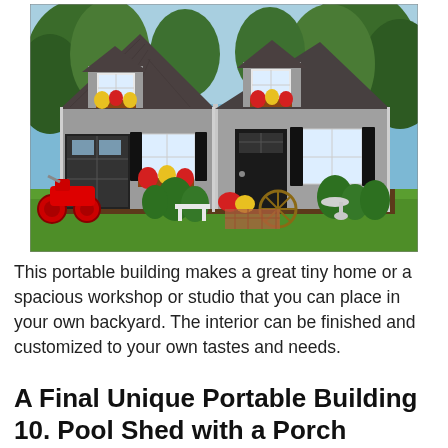[Figure (photo): A large two-story portable building/shed with gray siding, dark shingle roof with two dormers featuring flower boxes, multiple black doors and windows with black shutters, red scooter parked to the left, surrounded by landscaped garden with shrubs and flowers on a green lawn.]
This portable building makes a great tiny home or a spacious workshop or studio that you can place in your own backyard. The interior can be finished and customized to your own tastes and needs.
A Final Unique Portable Building 10. Pool Shed with a Porch